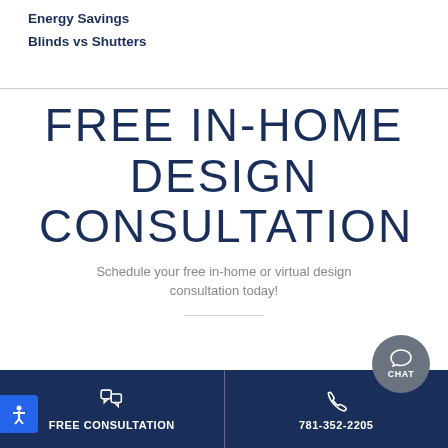Energy Savings
Blinds vs Shutters
FREE IN-HOME DESIGN CONSULTATION
Schedule your free in-home or virtual design consultation today!
FREE CONSULTATION   781-352-2205   CHAT